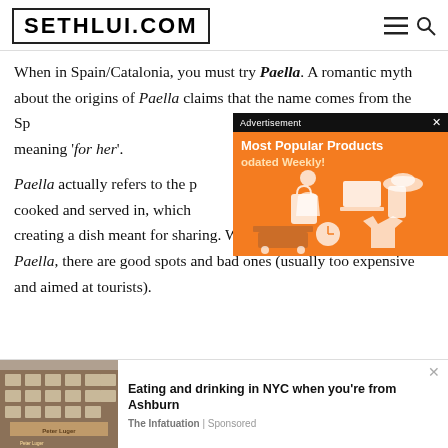SETHLUI.COM
When in Spain/Catalonia, you must try Paella. A romantic myth about the origins of Paella claims that the name comes from the Sp[anish word 'para ella'] meaning 'for her'.
[Figure (other): Advertisement overlay with orange background showing 'Most Popular Products Updated Weekly!' with shopping-related icons]
Paella actually refers to the p[an it is] cooked and served in, which [is wide and flat] creating a dish meant for sharing. When looking for a place to eat Paella, there are good spots and bad ones (usually too expensive and aimed at tourists).
[Figure (other): Bottom advertisement showing a brick building photo with text 'Eating and drinking in NYC when you're from Ashburn' by The Infatuation | Sponsored]